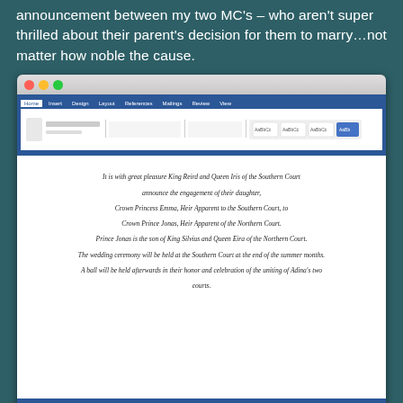announcement between my two MC's – who aren't super thrilled about their parent's decision for them to marry…not matter how noble the cause.
[Figure (screenshot): A macOS screenshot of a Microsoft Word document showing a fantasy story engagement announcement written in italic script font. The document text reads: 'It is with great pleasure King Reird and Queen Iris of the Southern Court announce the engagement of their daughter, Crown Princess Emma, Heir Apparent to the Southern Court, to Crown Prince Jonas, Heir Apparent of the Northern Court. Prince Jonas is the son of King Silvius and Queen Eira of the Northern Court. The wedding ceremony will be held at the Southern Court at the end of the summer months. A ball will be held afterwards in their honor and celebration of the uniting of Adina's two courts.']
Fun fact – the title for this fantasy WIP was actually heavily inspired by a Taylor Swift song. I won't tell you which one, but it was on her RED soundtrack.